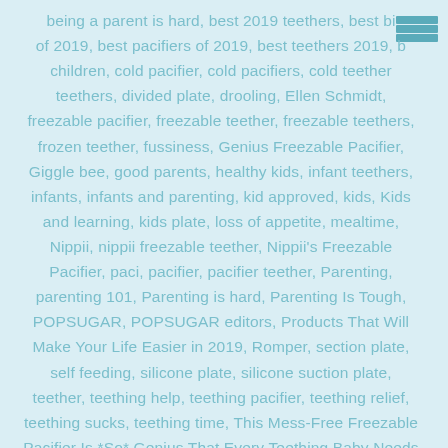being a parent is hard, best 2019 teethers, best bi of 2019, best pacifiers of 2019, best teethers 2019, b children, cold pacifier, cold pacifiers, cold teether teethers, divided plate, drooling, Ellen Schmidt, freezable pacifier, freezable teether, freezable teethers, frozen teether, fussiness, Genius Freezable Pacifier, Giggle bee, good parents, healthy kids, infant teethers, infants, infants and parenting, kid approved, kids, Kids and learning, kids plate, loss of appetite, mealtime, Nippii, nippii freezable teether, Nippii's Freezable Pacifier, paci, pacifier, pacifier teether, Parenting, parenting 101, Parenting is hard, Parenting Is Tough, POPSUGAR, POPSUGAR editors, Products That Will Make Your Life Easier in 2019, Romper, section plate, self feeding, silicone plate, silicone suction plate, teether, teething help, teething pacifier, teething relief, teething sucks, teething time, This Mess-Free Freezable Pacifier Is *So* Genius That Every Teething Baby Needs One, toddler feeding, toddler life, toddler time, toddlers, YAHOO LIFESTYLE NEWS, yummy food